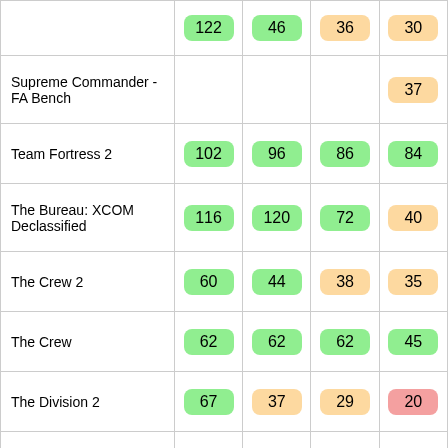| Game | Col1 | Col2 | Col3 | Col4 |
| --- | --- | --- | --- | --- |
|  | 122 | 46 | 36 | 30 |
| Supreme Commander - FA Bench |  |  |  | 37 |
| Team Fortress 2 | 102 | 96 | 86 | 84 |
| The Bureau: XCOM Declassified | 116 | 120 | 72 | 40 |
| The Crew 2 | 60 | 44 | 38 | 35 |
| The Crew | 62 | 62 | 62 | 45 |
| The Division 2 | 67 | 37 | 29 | 20 |
| The Division | 100 | 68 | 34 | 27 |